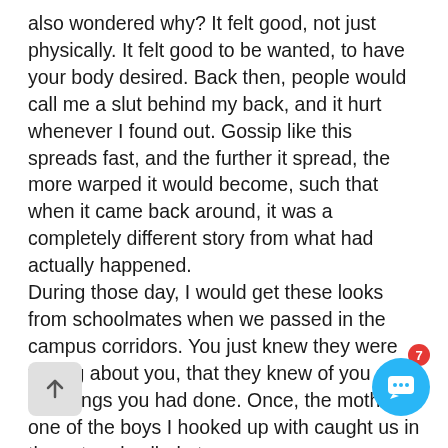also wondered why? It felt good, not just physically. It felt good to be wanted, to have your body desired. Back then, people would call me a slut behind my back, and it hurt whenever I found out. Gossip like this spreads fast, and the further it spread, the more warped it would become, such that when it came back around, it was a completely different story from what had actually happened.
During those day, I would get these looks from schoolmates when we passed in the campus corridors. You just knew they were talking about you, that they knew of you and the things you had done. Once, the mother of one of the boys I hooked up with caught us in the act and yelled at us.
She told me I was a loose woman, and that I had no respect for their family. She might as well have called me the S-word. These days, a few years and many experiences later, the label no longer bothers me.
These days, with Tinder, Grindr, and all that becoming a